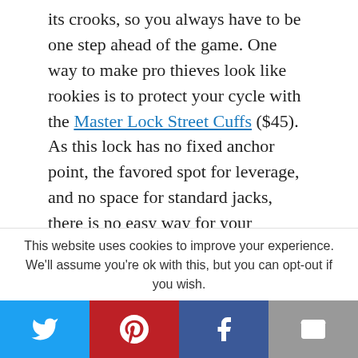its crooks, so you always have to be one step ahead of the game. One way to make pro thieves look like rookies is to protect your cycle with the Master Lock Street Cuffs ($45). As this lock has no fixed anchor point, the favored spot for leverage, and no space for standard jacks, there is no easy way for your opportunist thief to defeat these street cuffs. As an added bonus the lock folds in half for storage. The pivot links allow for easy placemnt around both your bike and whichever object you choose to lock it to. The
This website uses cookies to improve your experience. We'll assume you're ok with this, but you can opt-out if you wish.